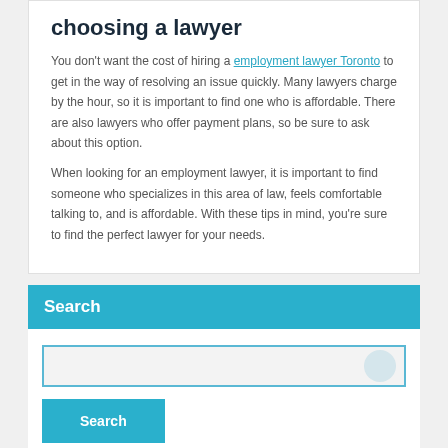choosing a lawyer
You don't want the cost of hiring a employment lawyer Toronto to get in the way of resolving an issue quickly. Many lawyers charge by the hour, so it is important to find one who is affordable. There are also lawyers who offer payment plans, so be sure to ask about this option.
When looking for an employment lawyer, it is important to find someone who specializes in this area of law, feels comfortable talking to, and is affordable. With these tips in mind, you're sure to find the perfect lawyer for your needs.
Search